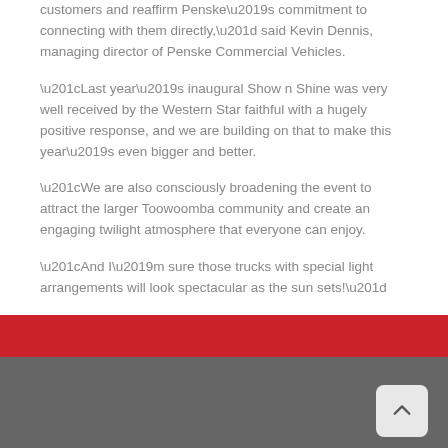customers and reaffirm Penske’s commitment to connecting with them directly,” said Kevin Dennis, managing director of Penske Commercial Vehicles.
“Last year’s inaugural Show n Shine was very well received by the Western Star faithful with a hugely positive response, and we are building on that to make this year’s even bigger and better.
“We are also consciously broadening the event to attract the larger Toowoomba community and create an engaging twilight atmosphere that everyone can enjoy.
“And I’m sure those trucks with special light arrangements will look spectacular as the sun sets!”
OUR BRANDS